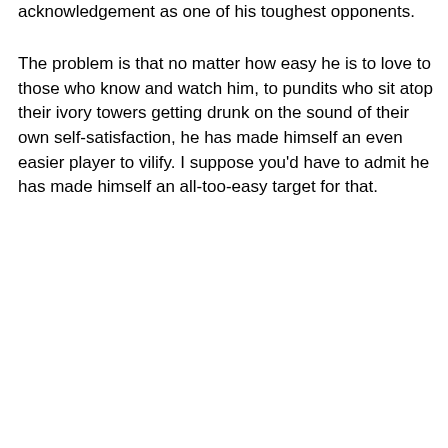acknowledgement as one of his toughest opponents.
The problem is that no matter how easy he is to love to those who know and watch him, to pundits who sit atop their ivory towers getting drunk on the sound of their own self-satisfaction, he has made himself an even easier player to vilify. I suppose you'd have to admit he has made himself an all-too-easy target for that.